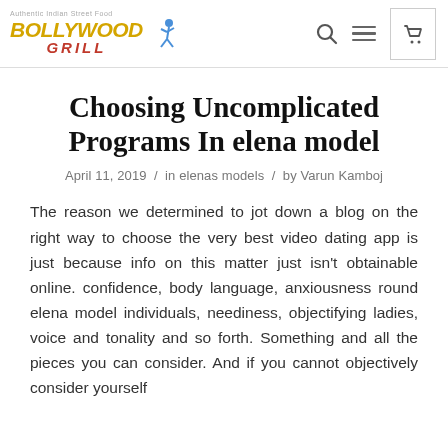Bollywood Grill — Authentic Indian Street Food
Choosing Uncomplicated Programs In elena model
April 11, 2019  /  in elenas models  /  by Varun Kamboj
The reason we determined to jot down a blog on the right way to choose the very best video dating app is just because info on this matter just isn't obtainable online. confidence, body language, anxiousness round elena model individuals, neediness, objectifying ladies, voice and tonality and so forth. Something and all the pieces you can consider. And if you cannot objectively consider yourself